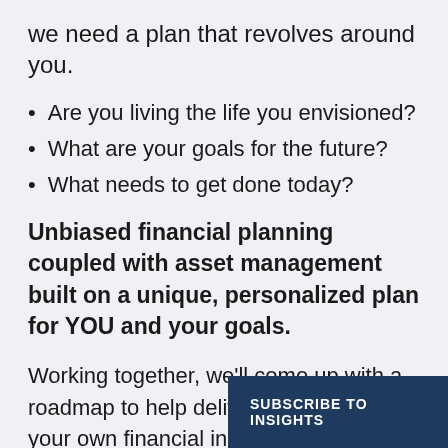we need a plan that revolves around you.
Are you living the life you envisioned?
What are your goals for the future?
What needs to get done today?
Unbiased financial planning coupled with asset management built on a unique, personalized plan for YOU and your goals.
Working together, we'll come up with a roadmap to help deliver you towards your own financial independence with the peace of mind knowing you can while addressing your fut
SUBSCRIBE TO INSIGHTS